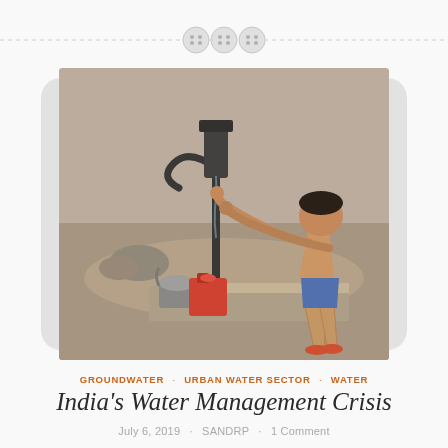[Figure (photo): Decorative header with three button/sewn icons on a dashed horizontal line]
[Figure (photo): Black and white photo of a young child operating a hand water pump in an arid landscape, with red and grey water containers on the ground nearby]
GROUNDWATER · URBAN WATER SECTOR · WATER
India's Water Management Crisis
July 6, 2019 · SANDRP · 1 Comment